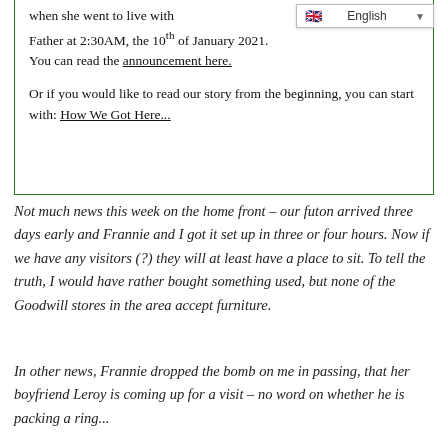when she went to live with Father at 2:30AM, the 10th of January 2021. You can read the announcement here. Or if you would like to read our story from the beginning, you can start with: How We Got Here...
[Figure (screenshot): Language selector widget showing English with a flag icon and dropdown arrow]
Not much news this week on the home front – our futon arrived three days early and Frannie and I got it set up in three or four hours. Now if we have any visitors (?) they will at least have a place to sit. To tell the truth, I would have rather bought something used, but none of the Goodwill stores in the area accept furniture.
In other news, Frannie dropped the bomb on me in passing, that her boyfriend Leroy is coming up for a visit – no word on whether he is packing a ring...